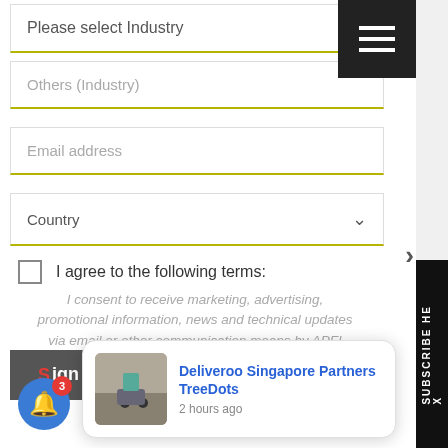Please select Industry
Others (Industry)
Email address
Country
I agree to the following terms:
I consent to receive marketing, advertising, promotional information, news and technical updates via email or other communication means by APFI magazine and its trusted partners.
Sign me up!
Deliveroo Singapore Partners TreeDots
2 hours ago